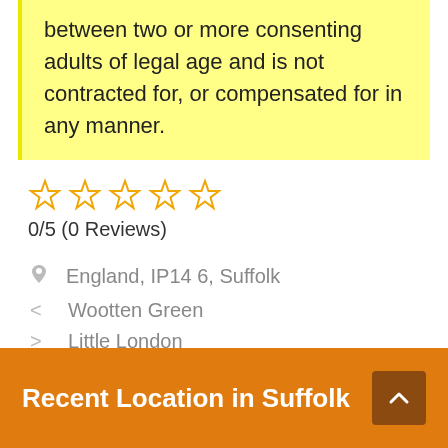between two or more consenting adults of legal age and is not contracted for, or compensated for in any manner.
0/5 (0 Reviews)
England, IP14 6, Suffolk
< Wootten Green
> Little London
Recent Location in Suffolk